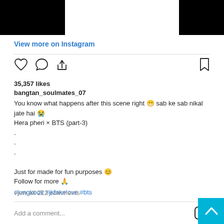[Figure (screenshot): Black redacted bar top-left]
[Figure (screenshot): Black redacted bar top-right]
View more on Instagram
35,357 likes
bangtan_soulmates_07
You know what happens after this scene right 😁 sab ke sab nikal jate hai 😭
Hera pheri × BTS (part-3)
.
.
.
Just for made for fun purposes 😊
Follow for more 🙏
#jungkook #jkfakelove #bts
view all 222 comments